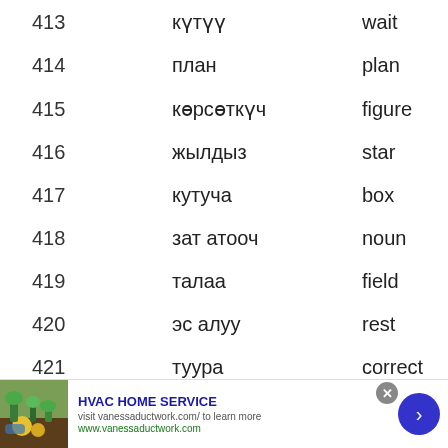| # | Kyrgyz | English |
| --- | --- | --- |
| 413 | күтүү | wait |
| 414 | план | plan |
| 415 | көрсөткүч | figure |
| 416 | жылдыз | star |
| 417 | кутуча | box |
| 418 | зат атооч | noun |
| 419 | талаа | field |
| 420 | эс алуу | rest |
| 421 | туура | correct |
[Figure (other): Advertisement banner: HVAC HOME SERVICE — visit vanessaductwork.com/ to learn more. www.vanessaductwork.com. Image shows hands planting flowers in soil.]